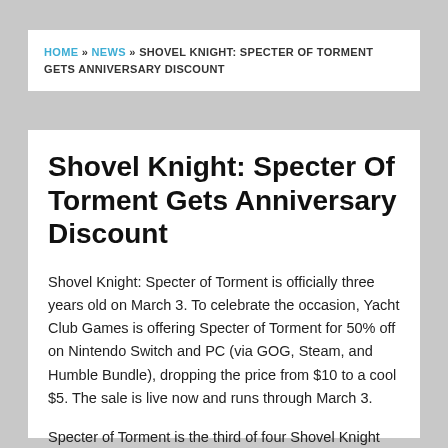HOME » NEWS » SHOVEL KNIGHT: SPECTER OF TORMENT GETS ANNIVERSARY DISCOUNT
Shovel Knight: Specter Of Torment Gets Anniversary Discount
Shovel Knight: Specter of Torment is officially three years old on March 3. To celebrate the occasion, Yacht Club Games is offering Specter of Torment for 50% off on Nintendo Switch and PC (via GOG, Steam, and Humble Bundle), dropping the price from $10 to a cool $5. The sale is live now and runs through March 3.
Specter of Torment is the third of four Shovel Knight adventures that make up Shovel Knight: Treasure Trove.